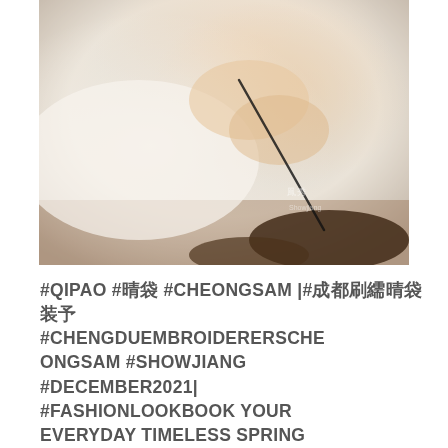[Figure (photo): Close-up photo of a person in a white qipao/cheongsam dress with embroidery, leaning over a surface holding a calligraphy brush, with soft natural lighting]
#QIPAO #旗袍 #CHEONGSAM |#成都刺绣旗袍 #CHENGDUEMBROIDERERCHEONGSAM #SHOWJIANG #DECEMBER2021| #FASHIONLOOKBOOK YOUR EVERYDAY TIMELESS SPRING WARM WINTERY WHITE